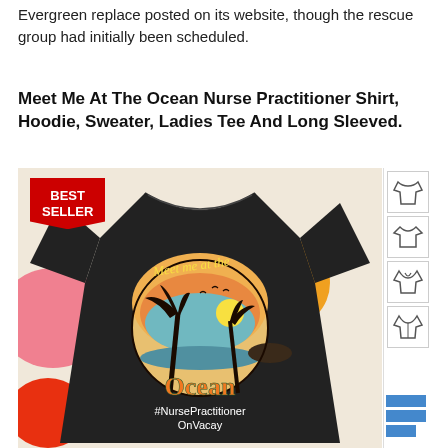Evergreen replace posted on its website, though the rescue group had initially been scheduled.
Meet Me At The Ocean Nurse Practitioner Shirt, Hoodie, Sweater, Ladies Tee And Long Sleeved.
[Figure (photo): Product image of a black t-shirt with 'Meet me at the Ocean #NursePractitionerOnVacay' tropical sunset design. Shown with 'Best Seller' badge in red, colorful decorative circles in background (pink, orange, red, blue), and four clothing style thumbnail icons on the right side.]